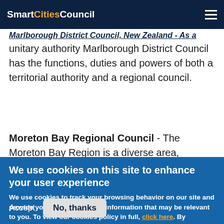SmartCities Council
Marlborough District Council, New Zealand - As a unitary authority Marlborough District Council has the functions, duties and powers of both a territorial authority and a regional council.
Moreton Bay Regional Council - The Moreton Bay Region is a diverse area, spanning more than 2,045
We use cookies on this site to enhance your user experience
We use cookies to track your browsing behavior on our site and provide you with ads or other information that may be relevant to you. To view our cookies policy in full, click here. By continuing to use our site, you agree to these terms. More info
Accept
No, thanks